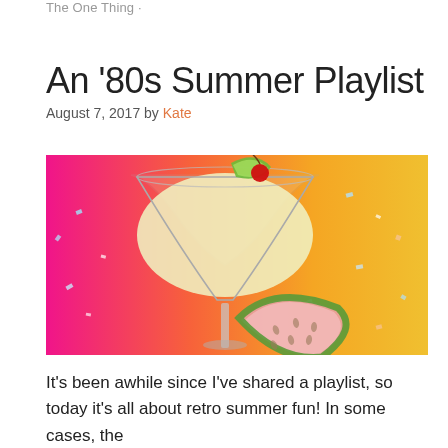The One Thing ·
An '80s Summer Playlist
August 7, 2017 by Kate
[Figure (photo): A cocktail glass filled with a creamy yellow-green drink, garnished with a lime slice and red cherry, alongside a watermelon slice coaster, on a vivid pink-to-orange-to-yellow gradient background with colorful confetti.]
It's been awhile since I've shared a playlist, so today it's all about retro summer fun! In some cases, the